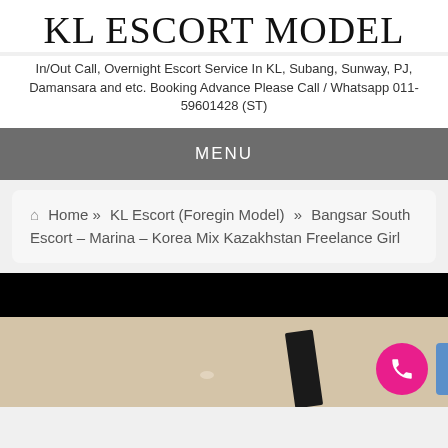KL ESCORT MODEL
In/Out Call, Overnight Escort Service In KL, Subang, Sunway, PJ, Damansara and etc. Booking Advance Please Call / Whatsapp 011-59601428 (ST)
MENU
🏠 Home » KL Escort (Foregin Model) » Bangsar South Escort – Marina – Korea Mix Kazakhstan Freelance Girl
[Figure (photo): Partial photo showing a dark top area and a beige/cream background with what appears to be a bag strap. A pink phone icon button and blue tab are visible in the bottom-right corner.]